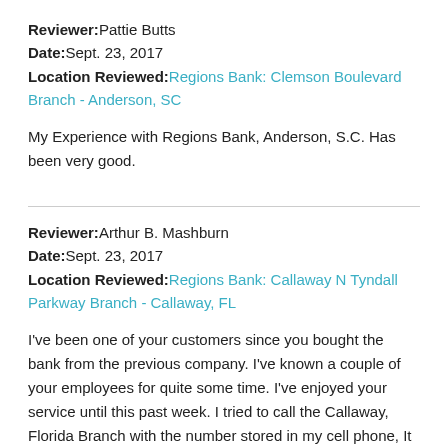Reviewer: Pattie Butts
Date: Sept. 23, 2017
Location Reviewed: Regions Bank: Clemson Boulevard Branch - Anderson, SC
My Experience with Regions Bank, Anderson, S.C. Has been very good.
Reviewer: Arthur B. Mashburn
Date: Sept. 23, 2017
Location Reviewed: Regions Bank: Callaway N Tyndall Parkway Branch - Callaway, FL
I've been one of your customers since you bought the bank from the previous company. I've known a couple of your employees for quite some time. I've enjoyed your service until this past week. I tried to call the Callaway, Florida Branch with the number stored in my cell phone, It was no longer in service, changed to a damn 800-734-4667 number. I called that number trying to get the Callaway Branch number and spent several minutes punching options and listening to a lot